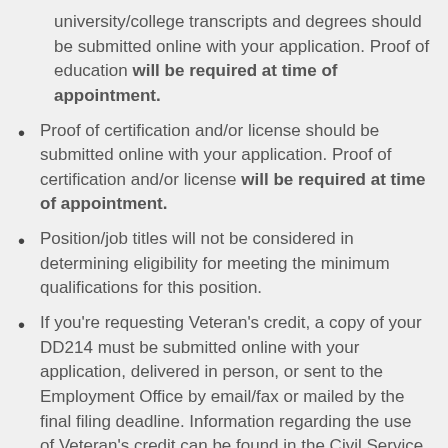university/college transcripts and degrees should be submitted online with your application. Proof of education will be required at time of appointment.
Proof of certification and/or license should be submitted online with your application. Proof of certification and/or license will be required at time of appointment.
Position/job titles will not be considered in determining eligibility for meeting the minimum qualifications for this position.
If you're requesting Veteran's credit, a copy of your DD214 must be submitted online with your application, delivered in person, or sent to the Employment Office by email/fax or mailed by the final filing deadline. Information regarding the use of Veteran's credit can be found in the Civil Service Board rules under rule 4.9C.
Applicants are responsible for attaching a copy of their DD214 to each position for which they apply.